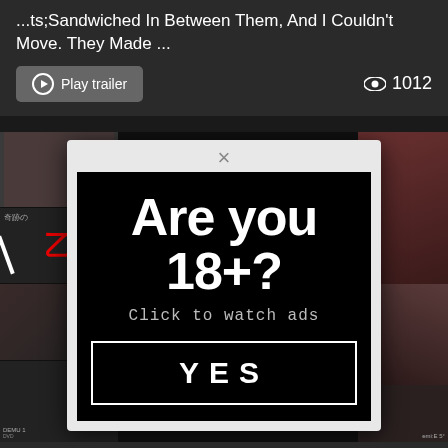...ts;Sandwiched In Between Them, And I Couldn't Move. They Made ...
Play trailer
1012
[Figure (screenshot): Web page screenshot showing a video content listing with a modal age verification overlay asking 'Are you 18+?' with 'Click to watch ads' subtitle and a YES button]
SDMU... In Collaboration with... Gothic X Yuri (I...